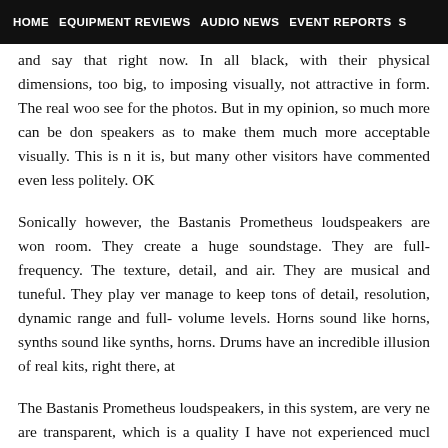HOME  EQUIPMENT REVIEWS  AUDIO NEWS  EVENT REPORTS  S
and say that right now. In all black, with their physical dimensions, too big, to imposing visually, not attractive in form. The real wood see for the photos. But in my opinion, so much more can be done speakers as to make them much more acceptable visually. This is n it is, but many other visitors have commented even less politely. OK
Sonically however, the Bastanis Prometheus loudspeakers are won room. They create a huge soundstage. They are full-frequency. They texture, detail, and air. They are musical and tuneful. They play very manage to keep tons of detail, resolution, dynamic range and full-f volume levels. Horns sound like horns, synths sound like synths, horns. Drums have an incredible illusion of real kits, right there, at t
The Bastanis Prometheus loudspeakers, in this system, are very ne are transparent, which is a quality I have not experienced much speakers add their own flavor to the system, more than any othe seem to get out of the way and let full range music: tones and tex